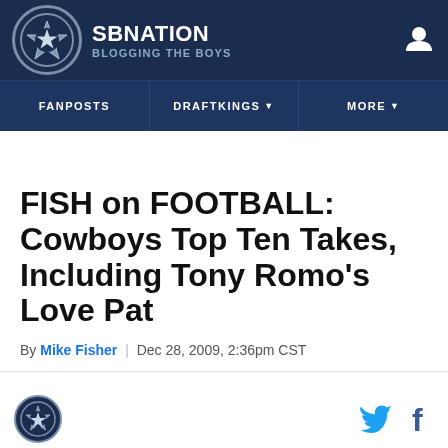SB NATION | BLOGGING THE BOYS
FISH on FOOTBALL: Cowboys Top Ten Takes, Including Tony Romo's Love Pat
By Mike Fisher | Dec 28, 2009, 2:36pm CST
Blogging The Boys logo with Twitter and Facebook social icons